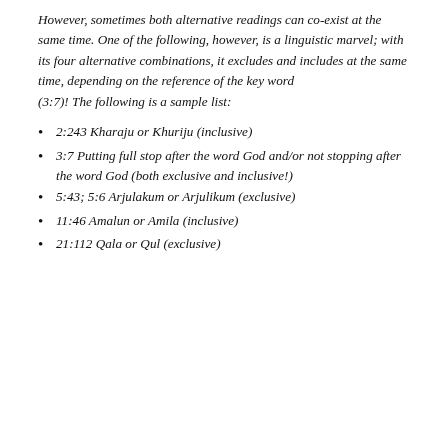However, sometimes both alternative readings can co-exist at the same time. One of the following, however, is a linguistic marvel; with its four alternative combinations, it excludes and includes at the same time, depending on the reference of the key word (3:7)! The following is a sample list:
2:243 Kharaju or Khuriju (inclusive)
3:7 Putting full stop after the word God and/or not stopping after the word God (both exclusive and inclusive!)
5:43; 5:6 Arjulakum or Arjulikum (exclusive)
11:46 Amalun or Amila (inclusive)
21:112 Qala or Qul (exclusive)